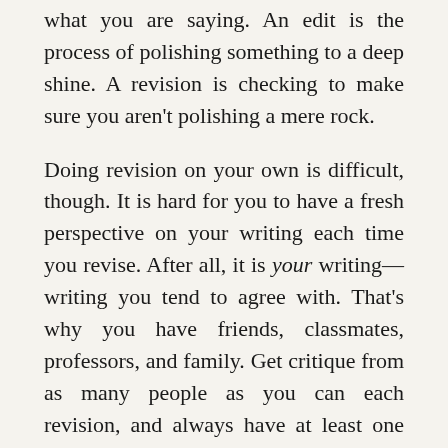what you are saying. An edit is the process of polishing something to a deep shine. A revision is checking to make sure you aren't polishing a mere rock.
Doing revision on your own is difficult, though. It is hard for you to have a fresh perspective on your writing each time you revise. After all, it is your writing—writing you tend to agree with. That's why you have friends, classmates, professors, and family. Get critique from as many people as you can each revision, and always have at least one other perspective.
These other people are willing to ask questions about your writing that you wouldn't necessarily ask. They have no emotional attachment to the writing, because